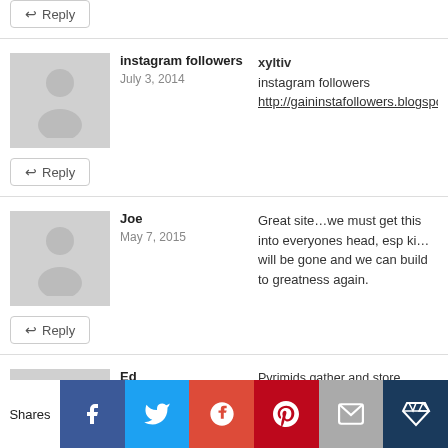Reply (top, truncated)
instagram followers — xyltiv — July 3, 2014 — instagram followers http://gaininstafollowers.blogspot.c…
Reply
Joe — May 7, 2015 — Great site…we must get this into everyones head, esp ki… will be gone and we can build to greatness again.
Reply
Ed — January 13, 2020 — Pyrimids gather and store torsion waves. They were NO… north.If you build your own, it doesn't really matter wha… anything. The main thing is the shape.It doesn't even ne… As long as it has a complete frame in the proscribed pi s… but some are better then others.Russian researchers have… most.one interesting point… You don't have to alone yo… attach high strength nio.magnets to 2 sides of it. North c…
Reply
Shares